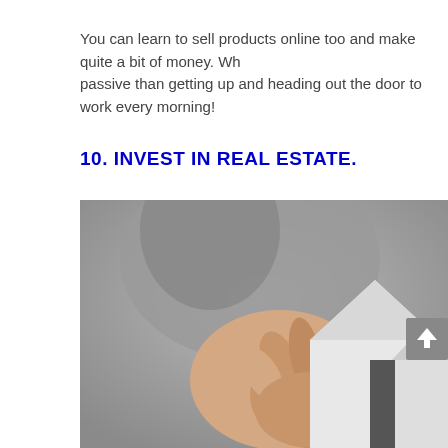You can learn to sell products online too and make quite a bit of money. Wh... passive than getting up and heading out the door to work every morning!
10. INVEST IN REAL ESTATE.
[Figure (photo): A person holding small white paper house models, representing real estate investment. The image shows a hand pinching a paper house cutout with additional house shapes in the background, on a grey blurred background.]